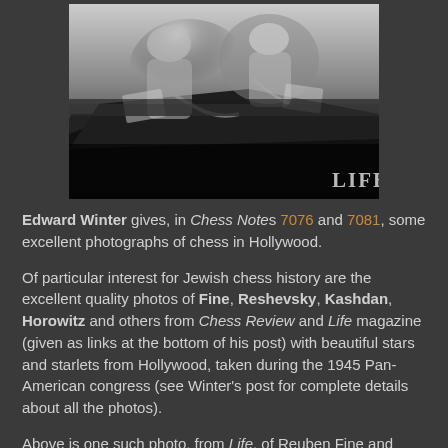[Figure (photo): Black and white photograph from LIFE magazine showing people in what appears to be a car or seated arrangement. The LIFE magazine logo watermark is visible in the lower right corner.]
Edward Winter gives, in Chess Notes 7076 and 7081, some excellent photographs of chess in Hollywood.
Of particular interest for Jewish chess history are the excellent quality photos of Fine, Reshevsky, Kashdan, Horowitz and others from Chess Review and Life magazine (given as links at the bottom of his post) with beautiful stars and starlets from Hollywood, taken during the 1945 Pan-American congress (see Winter's post for complete details about all the photos).
Above is one such photo, from Life, of Reuben Fine and